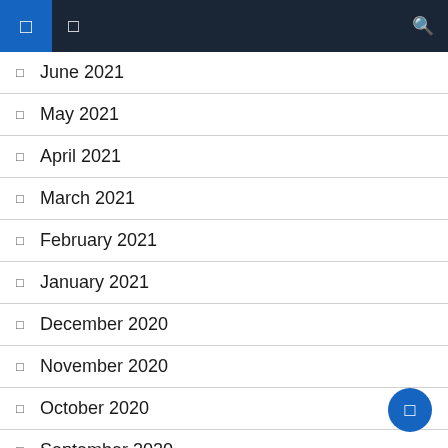Navigation bar with menu icons and search
June 2021
May 2021
April 2021
March 2021
February 2021
January 2021
December 2020
November 2020
October 2020
September 2020